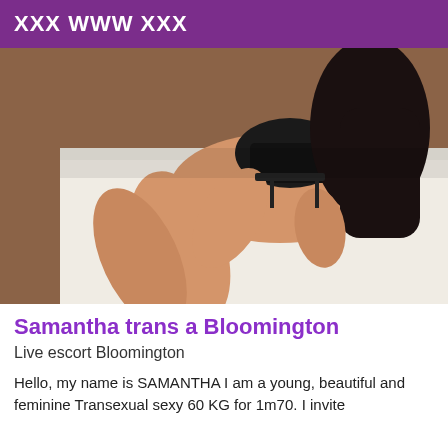XXX WWW XXX
[Figure (photo): A person in black lingerie on a white surface]
Samantha trans a Bloomington
Live escort Bloomington
Hello, my name is SAMANTHA I am a young, beautiful and feminine Transexual sexy 60 KG for 1m70. I invite